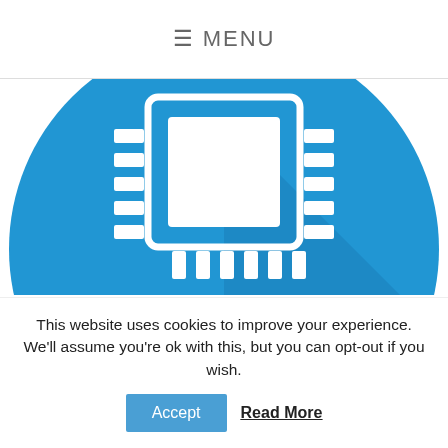≡ MENU
[Figure (illustration): Blue circle with white microchip/IC chip icon in the center, showing pins on the sides and bottom of the chip package. The circle is cropped at the bottom.]
Project Management for Technical Teams
325.00 € excl VAT
This website uses cookies to improve your experience. We'll assume you're ok with this, but you can opt-out if you wish.
Accept   Read More